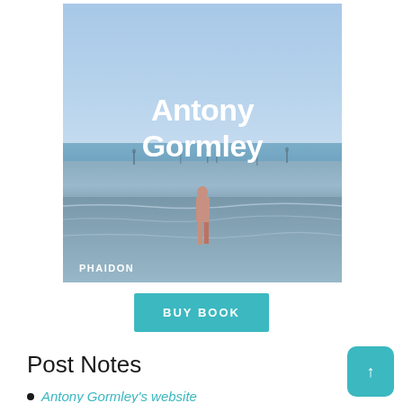[Figure (photo): Book cover of 'Antony Gormley' published by Phaidon. Shows a misty beach scene with several iron figures standing in the sea (Another Place installation). Title 'Antony Gormley' in large bold white text overlaid on the image. 'PHAIDON' publisher name at bottom left in white.]
BUY BOOK
Post Notes
Antony Gormley's website